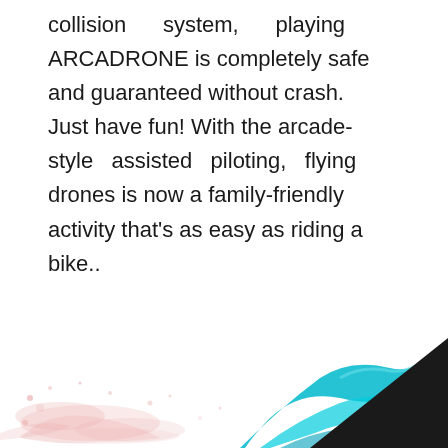collision system, playing ARCADRONE is completely safe and guaranteed without crash. Just have fun! With the arcade-style assisted piloting, flying drones is now a family-friendly activity that's as easy as riding a bike..
We make flying drones easy, fun, and profitable
[Figure (illustration): Decorative bottom section with pink/red paint splash on the left, flowing teal ribbon/wave in the center-right, and a black triangle in the bottom-right corner.]